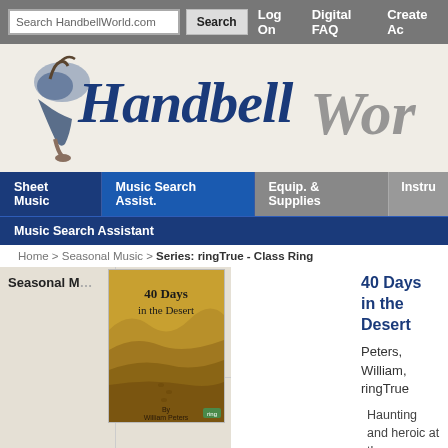Search HandbellWorld.com | Search | Log On | Digital FAQ | Create Ac...
[Figure (logo): HandbellWorld.com logo with a handbell illustration and stylized script text reading 'HandbellWorld' in dark navy blue]
Sheet Music | Music Search Assist. | Equip. & Supplies | Instru... | Music Search Assistant
Home > Seasonal Music > Series: ringTrue - Class Ring
Seasonal Music List
Catalog:
Above the
Line
Publishing
Catalog:
[Figure (illustration): Book cover for '40 Days in the Desert' by William Peters, showing desert sand dunes with footprints and a brown desert landscape]
40 Days in the Desert
Peters, William, ringTrue
Haunting and heroic at the same time, "40 Days in the Desert"